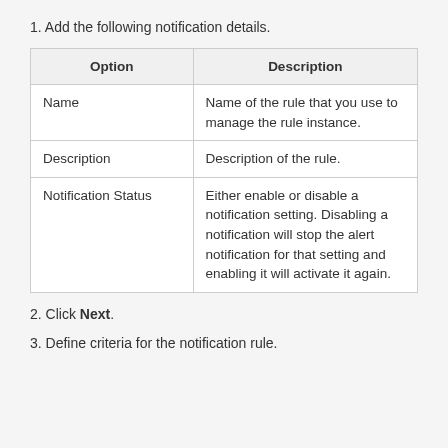1. Add the following notification details.
| Option | Description |
| --- | --- |
| Name | Name of the rule that you use to manage the rule instance. |
| Description | Description of the rule. |
| Notification Status | Either enable or disable a notification setting. Disabling a notification will stop the alert notification for that setting and enabling it will activate it again. |
2. Click Next.
3. Define criteria for the notification rule.